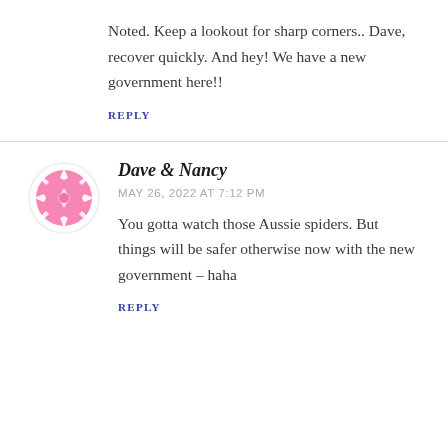Noted. Keep a lookout for sharp corners.. Dave, recover quickly. And hey! We have a new government here!!
REPLY
[Figure (illustration): Circular avatar icon with pink floral/snowflake pattern on white background]
Dave & Nancy
MAY 26, 2022 AT 7:12 PM
You gotta watch those Aussie spiders. But things will be safer otherwise now with the new government – haha
REPLY